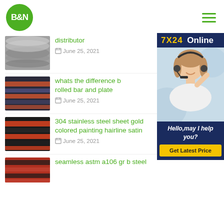[Figure (logo): B&N logo green circle]
[Figure (infographic): Hamburger menu icon]
[Figure (photo): Gray steel pipes thumbnail]
distributor
June 25, 2021
[Figure (photo): Colorful steel pipes bundle thumbnail]
whats the difference b rolled bar and plate
June 25, 2021
[Figure (photo): 7x24 Online chat widget with customer service representative]
[Figure (photo): Dark steel pipes with orange ends thumbnail]
304 stainless steel sheet gold colored painting hairline satin
June 25, 2021
[Figure (photo): Steel pipes thumbnail bottom]
seamless astm a106 gr b steel